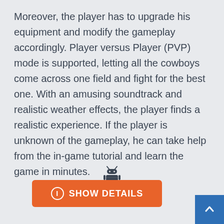Moreover, the player has to upgrade his equipment and modify the gameplay accordingly. Player versus Player (PVP) mode is supported, letting all the cowboys come across one field and fight for the best one. With an amusing soundtrack and realistic weather effects, the player finds a realistic experience. If the player is unknown of the gameplay, he can take help from the in-game tutorial and learn the game in minutes.
[Figure (illustration): Android robot icon (small, dark)]
[Figure (other): Orange button labeled 'SHOW DETAILS' with an info circle icon on the left]